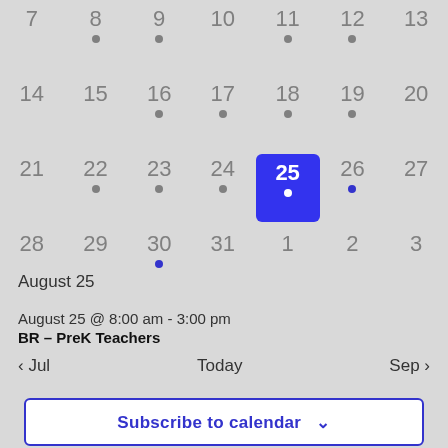[Figure (other): Monthly calendar grid showing August dates. Row 1: 7,8(dot),9(dot),10,11(dot),12(dot),13. Row 2: 14,15,16(dot),17(dot),18(dot),19(dot),20. Row 3: 21,22(dot),23(dot),24(dot),25(selected/blue),26(blue dot),27. Row 4: 28,29,30(blue dot),31,1,2,3.]
August 25
August 25 @ 8:00 am - 3:00 pm
BR – PreK Teachers
< Jul   Today   Sep >
Subscribe to calendar ∨